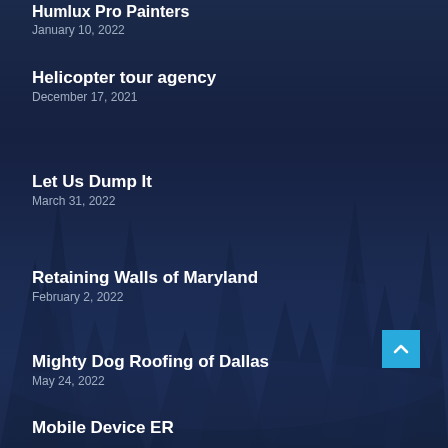Humlux Pro Painters
January 10, 2022
Helicopter tour agency
December 17, 2021
Let Us Dump It
March 31, 2022
Retaining Walls of Maryland
February 2, 2022
Mighty Dog Roofing of Dallas
May 24, 2022
Mobile Device ER